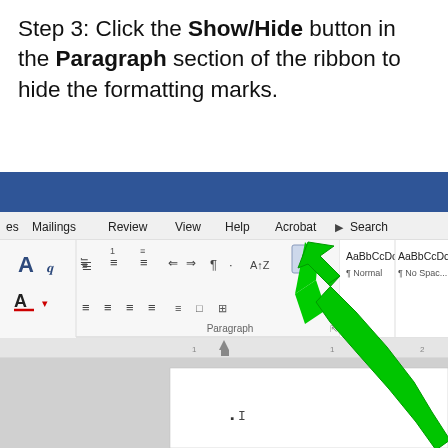Step 3: Click the Show/Hide button in the Paragraph section of the ribbon to hide the formatting marks.
[Figure (screenshot): Screenshot of Microsoft Word ribbon showing the Paragraph section with the Show/Hide (pilcrow) button highlighted by a green arrow pointing to it. The ribbon shows menu items: Mailings, Review, View, Help, Acrobat, Search. Below the ribbon is a ruler and a partially visible blank document page.]